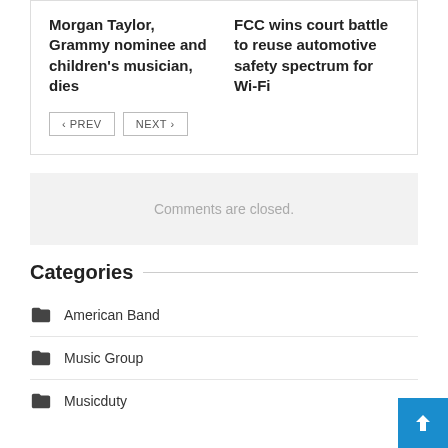Morgan Taylor, Grammy nominee and children's musician, dies
FCC wins court battle to reuse automotive safety spectrum for Wi-Fi
< PREV  NEXT >
Comments are closed.
Categories
American Band
Music Group
Musicduty